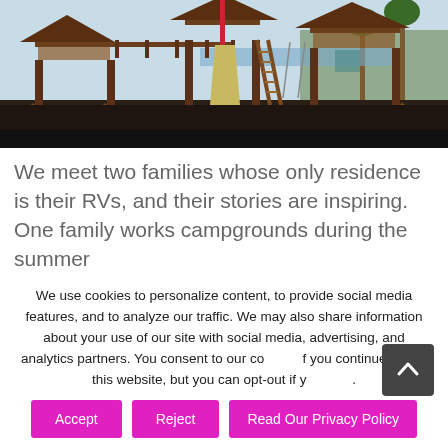[Figure (photo): Large wooden playground structure with slides, bridges, swings, and climbing elements on dark rubber mulch surface, outdoors near water and palm trees.]
We meet two families whose only residence is their RVs, and their stories are inspiring. One family works campgrounds during the summer
We use cookies to personalize content, to provide social media features, and to analyze our traffic. We may also share information about your use of our site with social media, advertising, and analytics partners. You consent to our cookies if you continue to use this website, but you can opt-out if you wish.
Accept
Reject
Read Our Privacy Policy